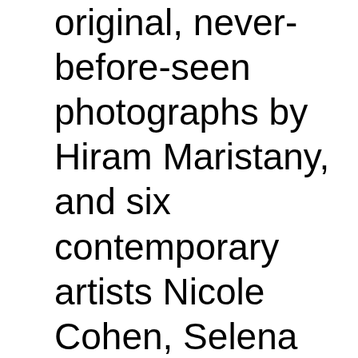original, never-before-seen photographs by Hiram Maristany, and six contemporary artists Nicole Cohen, Selena Kimball, Miguel Luciano, Steven Perez, Saul Williams, and Caroline Woolard—who have selected photographs from Maristany's personal collection, and are using them to create unique